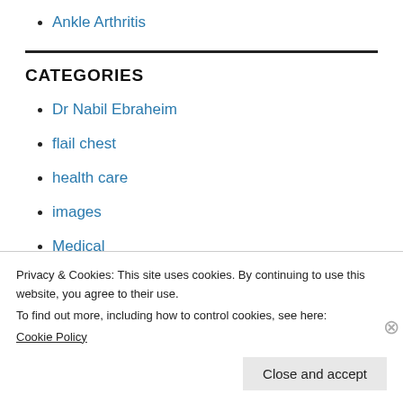Ankle Arthritis
CATEGORIES
Dr Nabil Ebraheim
flail chest
health care
images
Medical
Privacy & Cookies: This site uses cookies. By continuing to use this website, you agree to their use.
To find out more, including how to control cookies, see here:
Cookie Policy